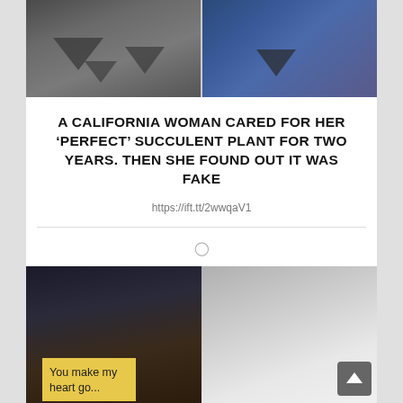[Figure (photo): Two-panel photo strip showing ground-level view with dark triangular arrow shapes/shadows on pavement on the left, and a blue denim fabric background on the right]
A CALIFORNIA WOMAN CARED FOR HER ‘PERFECT’ SUCCULENT PLANT FOR TWO YEARS. THEN SHE FOUND OUT IT WAS FAKE
https://ift.tt/2wwqaV1
[Figure (photo): Two-panel photo: left shows a yellow sticky note reading 'You make my heart go...' on a dark desk/keyboard background; right shows a hand holding a white card/paper]